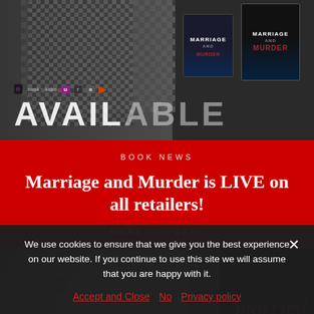[Figure (photo): Black and white photograph showing a person in a checkered shirt, with platform logos (nook, kobo) and large 'AVAILABLE' text. On the right are two book covers for 'Marriage and Murder' - one as a tablet/ebook and one as a hardcover.]
BOOK NEWS
Marriage and Murder is LIVE on all retailers!
MARCH 2, 2021
[Figure (photo): Black and white photograph of hands with a wedding ring, with overlaid text: Let's get married every day]
We use cookies to ensure that we give you the best experience on our website. If you continue to use this site we will assume that you are happy with it.
Accept and Close   No   Privacy policy